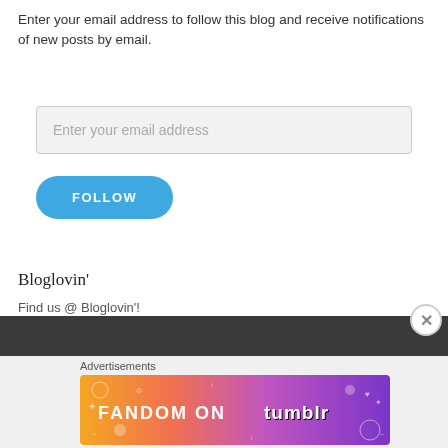Enter your email address to follow this blog and receive notifications of new posts by email.
Enter your email address
FOLLOW
Bloglovin'
Find us @ Bloglovin'!
[Figure (other): Dark bar background element]
Advertisements
[Figure (illustration): Fandom on Tumblr advertisement banner with colorful gradient from orange to purple with doodle icons and text 'FANDOM ON tumblr']